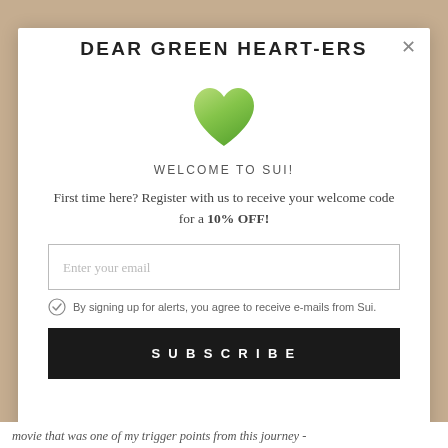DEAR GREEN HEART-ERS
[Figure (illustration): Green watercolor heart illustration]
WELCOME TO SUI!
First time here? Register with us to receive your welcome code for a 10% OFF!
Enter your email
By signing up for alerts, you agree to receive e-mails from Sui.
SUBSCRIBE
movie that was one of my trigger points from this journey -